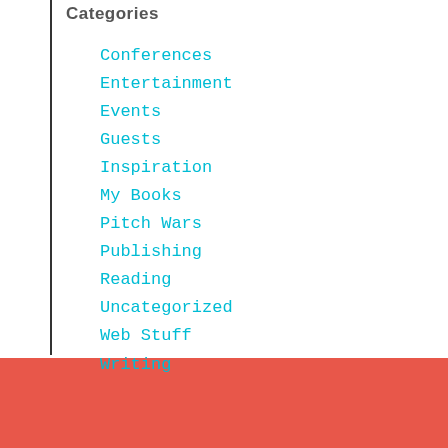Categories
Conferences
Entertainment
Events
Guests
Inspiration
My Books
Pitch Wars
Publishing
Reading
Uncategorized
Web Stuff
Writing